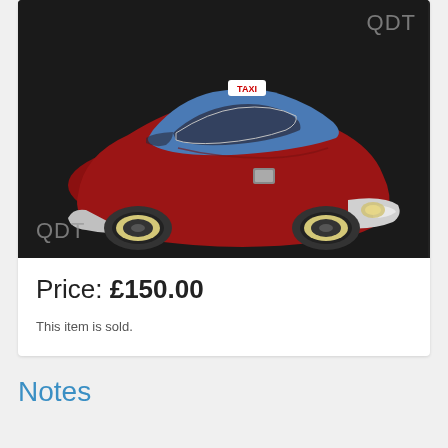[Figure (photo): A vintage red and blue die-cast toy taxi car with white-wall tyres and a taxi sign on the roof, photographed on a dark background. Watermark 'QDT' appears in the top-right and bottom-left corners of the image.]
Price: £150.00
This item is sold.
Notes